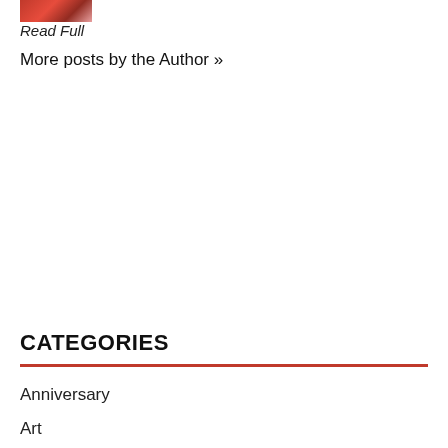[Figure (photo): Small thumbnail image with red/pink tones, partially visible at top left]
Read Full
More posts by the Author »
CATEGORIES
Anniversary
Art